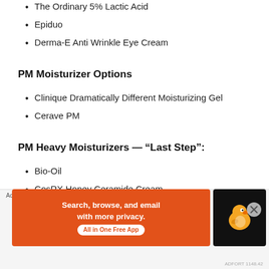The Ordinary 5% Lactic Acid
Epiduo
Derma-E Anti Wrinkle Eye Cream
PM Moisturizer Options
Clinique Dramatically Different Moisturizing Gel
Cerave PM
PM Heavy Moisturizers — “Last Step”:
Bio-Oil
CosRX Honey Ceramide Cream
Hadal abo Gokuiun Hyaluronic Solution
Advertisements
[Figure (infographic): DuckDuckGo advertisement banner: orange background with text 'Search, browse, and email with more privacy. All in One Free App' and DuckDuckGo duck logo on black background on the right side.]